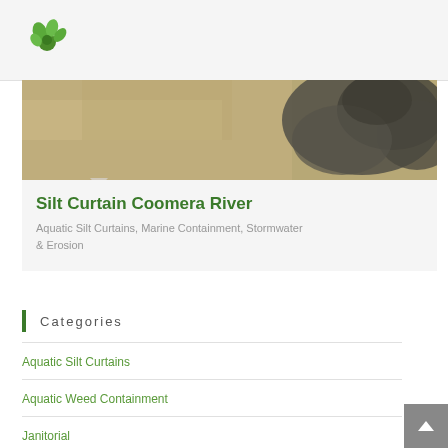[Figure (logo): Green plant/leaf logo icon for environmental company]
[Figure (photo): Aerial or close-up photo of murky sediment-filled water with dark silt clouds on the right side, showing environmental water conditions]
Silt Curtain Coomera River
Aquatic Silt Curtains, Marine Containment, Stormwater & Erosion
Categories
Aquatic Silt Curtains
Aquatic Weed Containment
Janitorial
Pipeline and Gas